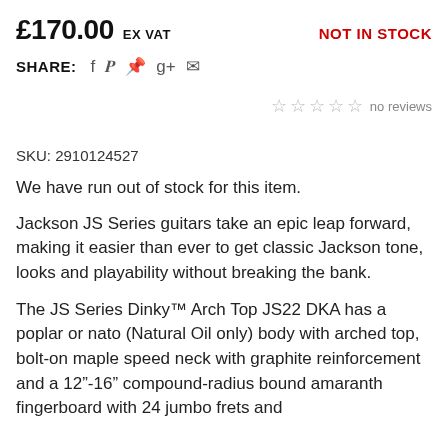£170.00 EX VAT — NOT IN STOCK
SHARE: f y p g+ ✉
☆☆☆☆☆ no reviews
SKU: 2910124527
We have run out of stock for this item.
Jackson JS Series guitars take an epic leap forward, making it easier than ever to get classic Jackson tone, looks and playability without breaking the bank.
The JS Series Dinky™ Arch Top JS22 DKA has a poplar or nato (Natural Oil only) body with arched top, bolt-on maple speed neck with graphite reinforcement and a 12"-16" compound-radius bound amaranth fingerboard with 24 jumbo frets and...